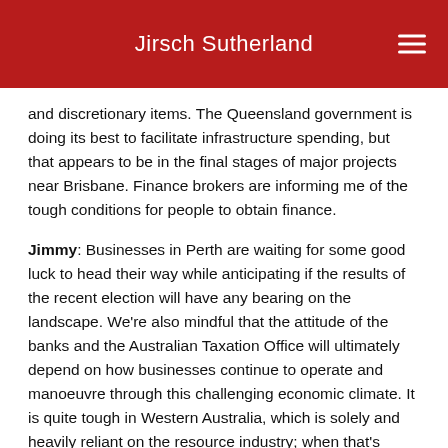Jirsch Sutherland
and discretionary items. The Queensland government is doing its best to facilitate infrastructure spending, but that appears to be in the final stages of major projects near Brisbane. Finance brokers are informing me of the tough conditions for people to obtain finance.
Jimmy: Businesses in Perth are waiting for some good luck to head their way while anticipating if the results of the recent election will have any bearing on the landscape. We're also mindful that the attitude of the banks and the Australian Taxation Office will ultimately depend on how businesses continue to operate and manoeuvre through this challenging economic climate. It is quite tough in Western Australia, which is solely and heavily reliant on the resource industry; when that's down, everyone seems to be down.